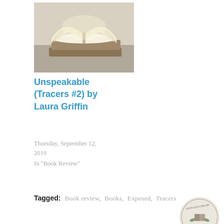[Figure (photo): Stack of open books with pages fanned out, warm light background]
Unspeakable (Tracers #2) by Laura Griffin
Thursday, September 12, 2019
In "Book Review"
Tagged:  Book review,  Books,  Exposed,  Tracers
Published by Hannah
Welcome to my library! Here you will find book